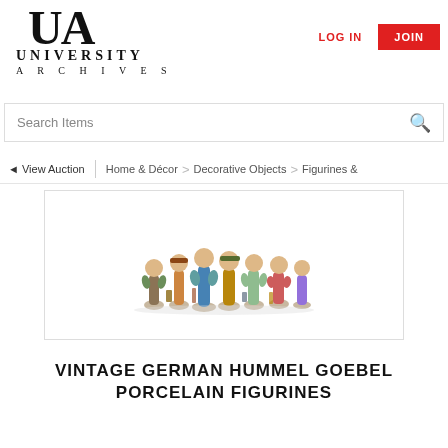[Figure (logo): University Archives logo with large UA lettermark and text 'UNIVERSITY ARCHIVES']
LOG IN
JOIN
Search Items
◄ View Auction | Home & Décor > Decorative Objects > Figurines &
[Figure (photo): Group of vintage German Hummel Goebel porcelain figurines, small colorful ceramic children figures arranged in a cluster on white background]
VINTAGE GERMAN HUMMEL GOEBEL PORCELAIN FIGURINES